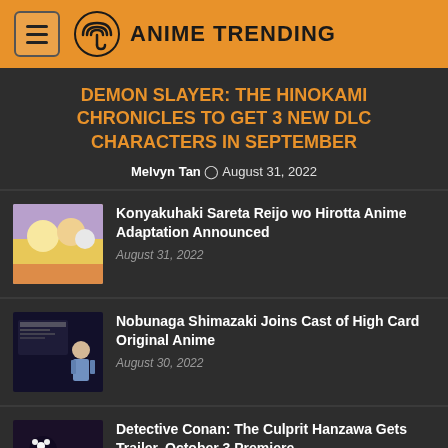ANIME TRENDING
DEMON SLAYER: THE HINOKAMI CHRONICLES TO GET 3 NEW DLC CHARACTERS IN SEPTEMBER
Melvyn Tan · August 31, 2022
Konyakuhaki Sareta Reijo wo Hirotta Anime Adaptation Announced
August 31, 2022
Nobunaga Shimazaki Joins Cast of High Card Original Anime
August 30, 2022
Detective Conan: The Culprit Hanzawa Gets Trailer, October 3 Premiere
August 30, 2022